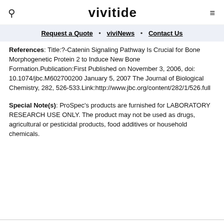vivitide
Request a Quote • viviNews • Contact Us
References: Title:?-Catenin Signaling Pathway Is Crucial for Bone Morphogenetic Protein 2 to Induce New Bone Formation.Publication:First Published on November 3, 2006, doi: 10.1074/jbc.M602700200 January 5, 2007 The Journal of Biological Chemistry, 282, 526-533.Link:http://www.jbc.org/content/282/1/526.full
Special Note(s): ProSpec's products are furnished for LABORATORY RESEARCH USE ONLY. The product may not be used as drugs, agricultural or pesticidal products, food additives or household chemicals.